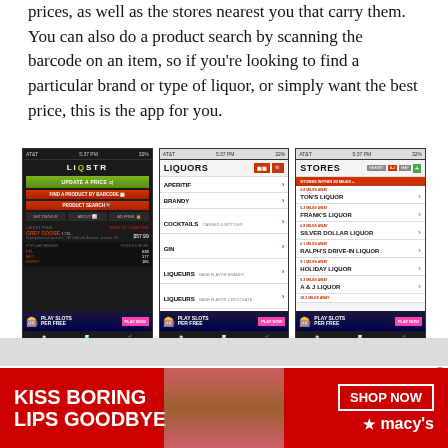prices, as well as the stores nearest you that carry them. You can also do a product search by scanning the barcode on an item, so if you're looking to find a particular brand or type of liquor, or simply want the best price, this is the app for you.
[Figure (screenshot): Three smartphone screenshots of the LIQSTR liquor price comparison app: Screen 1 shows the home screen with Update a Price, Find a Product by Barcode, and Product Search buttons; Screen 2 shows a LIQUORS category list including Aperitif, Brandy, Cocktails, Gin, and various Liqueurs; Screen 3 shows a STORES list with nearby liquor stores including Ton's Liquor, Frank's Liquor, Silver Dollar Liquor, Ralph's Drive-In Liquor, Holiday Liquor, and A & J Liquor.]
[Figure (photo): Advertisement banner for Macy's cosmetics: red background with text 'KISS BORING LIPS GOODBYE' on the left, a close-up photo of a woman's face with red lips in the center, and 'SHOP NOW' button with Macy's star logo on the right.]